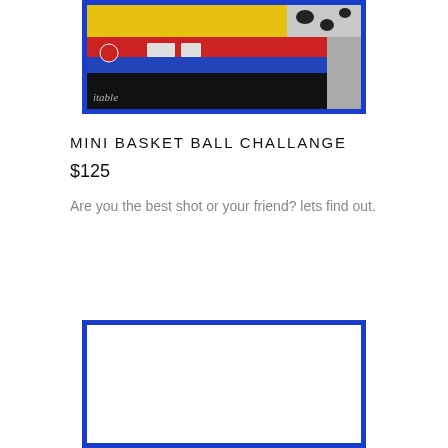[Figure (photo): Photo of a colorful inflatable bounce house/slide with yellow, red, blue, and black sections. A partial watermark text 'itable' is visible at the bottom left.]
MINI BASKET BALL CHALLANGE
$125
Are you the best shot or your friend? lets find out.
[Figure (photo): Second image placeholder with blue border, content appears blank/white.]